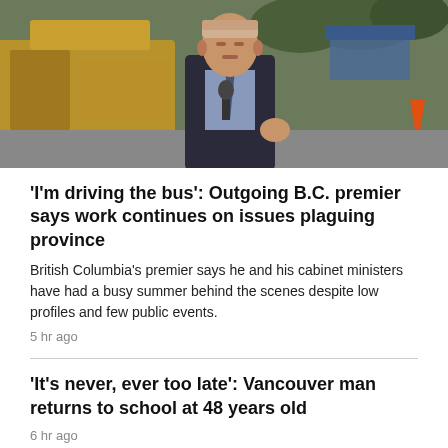[Figure (photo): Man in a dark suit speaking at a podium outdoors, with construction equipment (yellow excavator) in the background and trees visible.]
'I'm driving the bus': Outgoing B.C. premier says work continues on issues plaguing province
British Columbia's premier says he and his cabinet ministers have had a busy summer behind the scenes despite low profiles and few public events.
5 hr ago
'It's never, ever too late': Vancouver man returns to school at 48 years old
6 hr ago